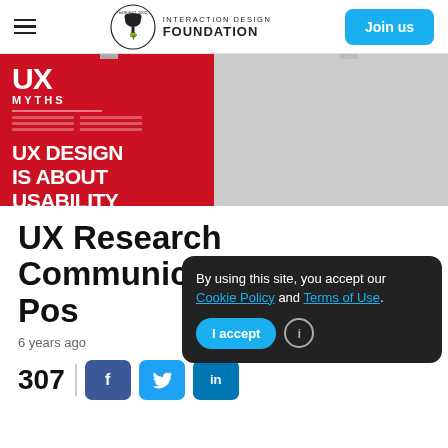Interaction Design Foundation
[Figure (illustration): UX Myths book cover on red background with text 'UX Design is About Usability', beside a light gray surface]
UX Research Communication – Using Pos
6 years ago
307
By using this site, you accept our Cookie Policy and Terms of Use.